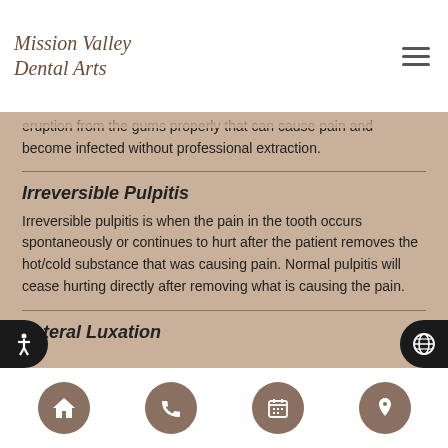[Figure (logo): Mission Valley Dental Arts cursive logo in brown/dark red]
eruption from the gums properly that can cause pain and become infected without professional extraction.
Irreversible Pulpitis
Irreversible pulpitis is when the pain in the tooth occurs spontaneously or continues to hurt after the patient removes the hot/cold substance that was causing pain. Normal pulpitis will cease hurting directly after removing what is causing the pain.
Lateral Luxation